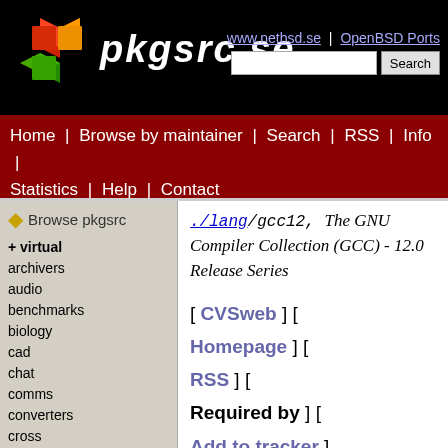pkgsrc.se
www.netbsd.se | OpenBSD Ports
Home | Browse by maintainer | Search | RSS | Info | Statistics | Help | Contact
Browse pkgsrc
+ virtual
archivers
audio
benchmarks
biology
cad
chat
comms
converters
cross
crosspkgtools
databases
devel
doc
editors
emulators
./lang/gcc12, The GNU Compiler Collection (GCC) - 12.0 Release Series
[ CVSweb ] [ Homepage ] [ RSS ] [ Required by ] [ Add to tracker ]